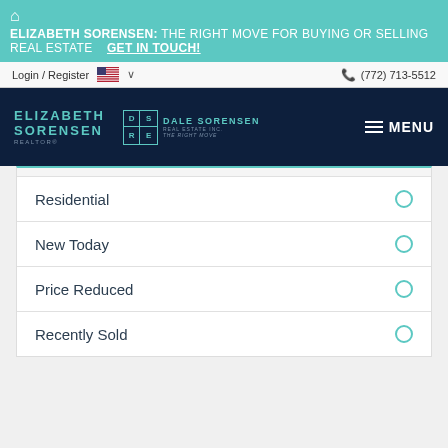🏠 ELIZABETH SORENSEN: THE RIGHT MOVE FOR BUYING OR SELLING REAL ESTATE   GET IN TOUCH!
Login / Register   (772) 713-5512
[Figure (logo): Elizabeth Sorensen Realtor and Dale Sorensen Real Estate Inc. logos on dark navy background with hamburger MENU button]
Residential
New Today
Price Reduced
Recently Sold